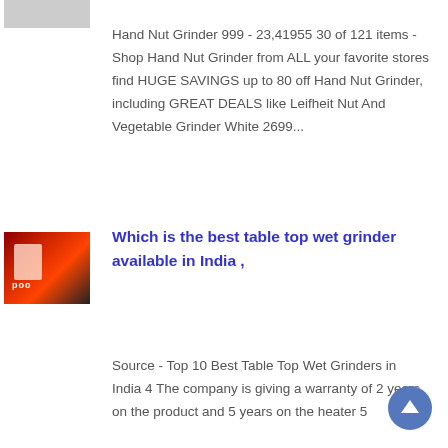[Figure (photo): Small thumbnail image at top left, partially visible, gray/blurred]
Hand Nut Grinder 999 - 23,41955 30 of 121 items - Shop Hand Nut Grinder from ALL your favorite stores find HUGE SAVINGS up to 80 off Hand Nut Grinder, including GREAT DEALS like Leifheit Nut And Vegetable Grinder White 2699...
[Figure (photo): Thumbnail image of a red/dark table top wet grinder appliance with 'poo' text overlay]
Which is the best table top wet grinder available in India ,
Source - Top 10 Best Table Top Wet Grinders in India 4 The company is giving a warranty of 2 years on the product and 5 years on the heater 5